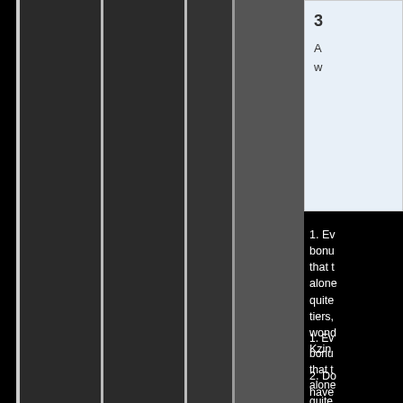[Figure (other): Dark background with multiple vertical dark gray and black stripes/columns of varying widths, occupying the left and center portion of the page. Appears to be a heavily cropped or partially visible document with vertical bar artifacts.]
3
A
w
1. Ev bonus that t alone quite tiers, wond Kzin
2. Do have